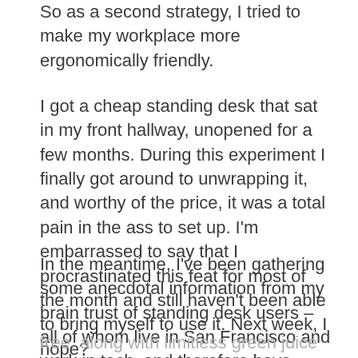So as a second strategy, I tried to make my workplace more ergonomically friendly.
I got a cheap standing desk that sat in my front hallway, unopened for a few months. During this experiment I finally got around to unwrapping it, and worthy of the price, it was a total pain in the ass to set up. I'm embarrassed to say that I procrastinated this feat for most of the month and still haven't been able to bring myself to use it. Next week, I hope?
In the meantime, I've been gathering some anecdotal information from my brain trust of standing desk users – all of whom live in San Francisco and work in tech, and therefore have been given the gift of ergonomics for free, along with limitless green juice and mid-day office yoga (I kid).